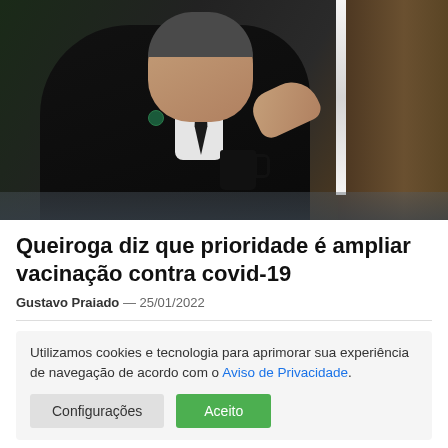[Figure (photo): Man in dark pinstripe suit with tie seated at a desk, gesturing with right hand, holding or near a black mug, wood-paneled background with vertical light strip]
Queiroga diz que prioridade é ampliar vacinação contra covid-19
Gustavo Praiado — 25/01/2022
Utilizamos cookies e tecnologia para aprimorar sua experiência de navegação de acordo com o Aviso de Privacidade.